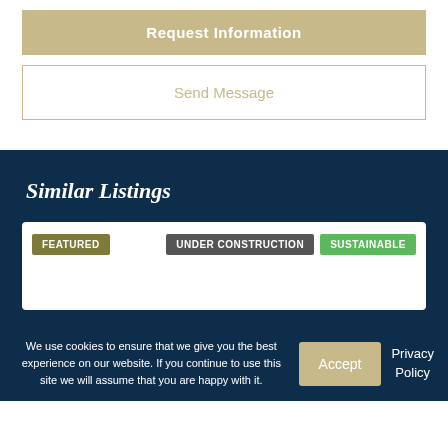Request Information
Send Message
Similar Listings
FEATURED
UNDER CONSTRUCTION
SUSTAINABLE
We use cookies to ensure that we give you the best experience on our website. If you continue to use this site we will assume that you are happy with it.
Accept
Privacy Policy